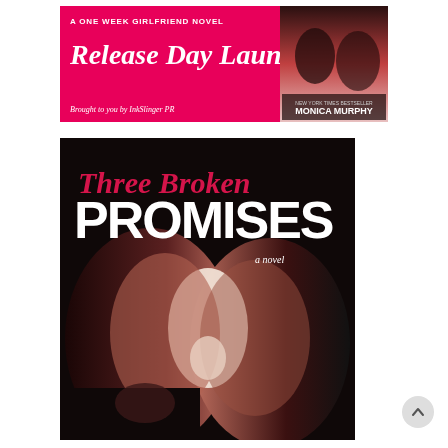[Figure (illustration): Release Day Launch banner for a One Week Girlfriend Novel by Monica Murphy. Pink and black banner with 'A ONE WEEK GIRLFRIEND NOVEL' text at top, large 'Release Day Launch' script text, book cover image on right side, and 'Brought to you by InkSlinger PR' at bottom left.]
[Figure (photo): Book cover for 'Three Broken Promises' by Monica Murphy. Black background with script red italic title 'Three Broken Promises' and bold white 'PROMISES' text overlaying a close-up photo of a man and woman about to kiss, their faces nearly touching.]